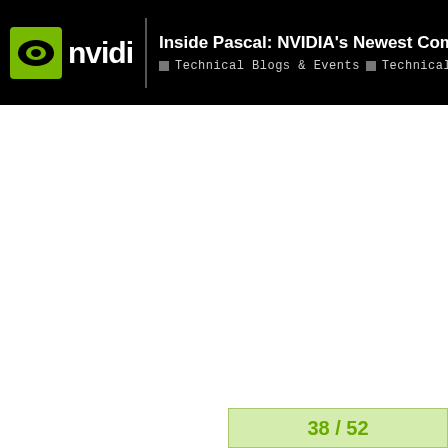Inside Pascal: NVIDIA's Newest Com... | Technical Blogs & Events | Technical
38 / 52